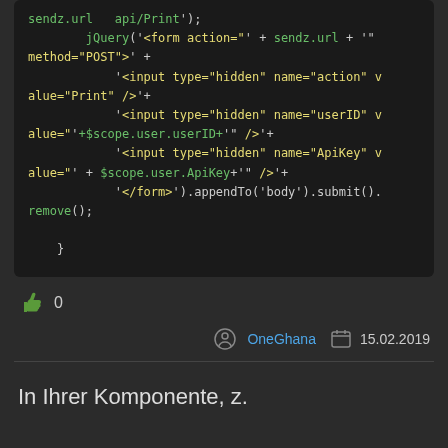[Figure (screenshot): Dark-themed code block showing JavaScript/AngularJS jQuery form submission code with green and yellow syntax highlighting.]
👍 0
OneGhana  15.02.2019
In Ihrer Komponente, z.